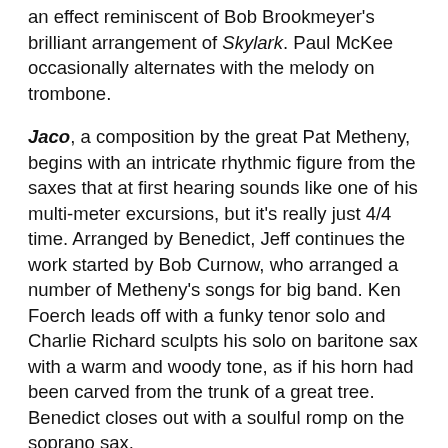an effect reminiscent of Bob Brookmeyer's brilliant arrangement of Skylark. Paul McKee occasionally alternates with the melody on trombone.
Jaco, a composition by the great Pat Metheny, begins with an intricate rhythmic figure from the saxes that at first hearing sounds like one of his multi-meter excursions, but it's really just 4/4 time. Arranged by Benedict, Jeff continues the work started by Bob Curnow, who arranged a number of Metheny's songs for big band. Ken Foerch leads off with a funky tenor solo and Charlie Richard sculpts his solo on baritone sax with a warm and woody tone, as if his horn had been carved from the trunk of a great tree. Benedict closes out with a soulful romp on the soprano sax.
Young and Fine is a composition written by Joe Zawinul for the fusion group, Weather Report. Another arrangement by Benedict, the sheer exuberance of the song, practically gushing with its own life force, almost overrides further treatment by